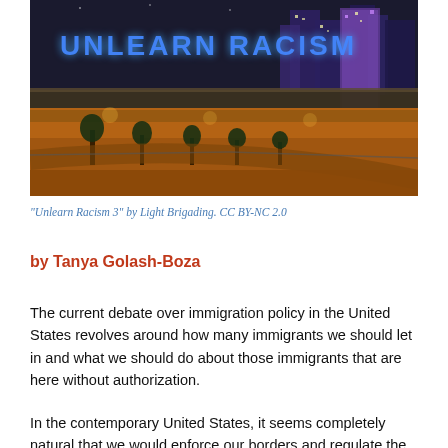[Figure (photo): Nighttime urban scene with a highway overpass lit in orange light and the words 'UNLEARN RACISM' displayed in blue neon/LED letters above the roadway, with city buildings in the background.]
“Unlearn Racism 3” by Light Brigading. CC BY-NC 2.0
by Tanya Golash-Boza
The current debate over immigration policy in the United States revolves around how many immigrants we should let in and what we should do about those immigrants that are here without authorization.
In the contemporary United States, it seems completely natural that we would enforce our borders and regulate the